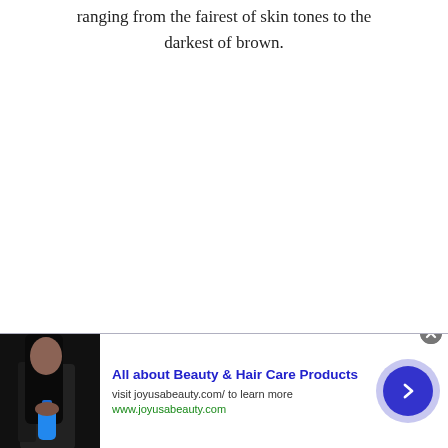ranging from the fairest of skin tones to the darkest of brown.
[Figure (infographic): Advertisement banner at bottom of page. Shows a woman holding a blue bottle with long dark hair against a dark background. Ad title: 'All about Beauty & Hair Care Products'. Subtitle: 'visit joyusabeauty.com/ to learn more'. URL: www.joyusabeauty.com. Right side has a blue arrow button on lavender circle background. Close button (X) in top-right corner.]